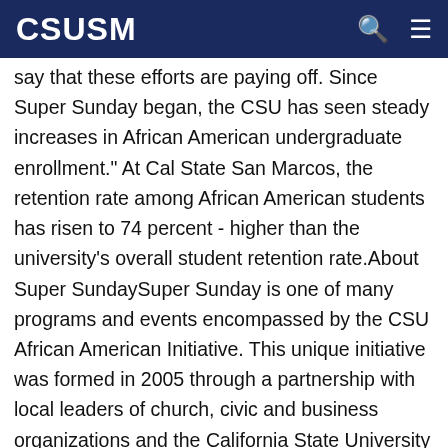CSUSM
say that these efforts are paying off. Since Super Sunday began, the CSU has seen steady increases in African American undergraduate enrollment." At Cal State San Marcos, the retention rate among African American students has risen to 74 percent - higher than the university's overall student retention rate.About Super SundaySuper Sunday is one of many programs and events encompassed by the CSU African American Initiative. This unique initiative was formed in 2005 through a partnership with local leaders of church, civic and business organizations and the California State University working together to promote a college-going culture among African American students. Every year, in February, leaders from the CSU and local communities gather at churches to send the message from the pulpit